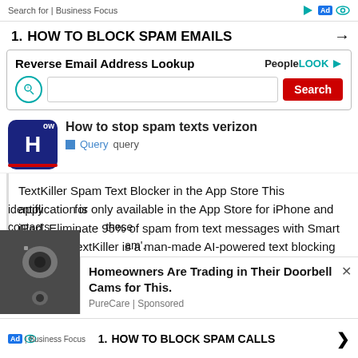Search for | Business Focus
1. HOW TO BLOCK SPAM EMAILS →
[Figure (screenshot): PeopleLook Reverse Email Address Lookup ad with search input and red Search button]
How to stop spam texts verizon
Query  query
TextKiller Spam Text Blocker in the App Store This application is only available in the App Store for iPhone and iPad. Eliminate 95% of spam from text messages with Smart Blocking. TextKiller is a man-made AI-powered text blocking application built on top of RoboKiller.
How do I report spam text messages on my
[Figure (photo): Security cameras on wall]
Homeowners Are Trading in Their Doorbell Cams for This.
PureCare | Sponsored
identify  for contacts  these messag  am'.
1. HOW TO BLOCK SPAM CALLS  | Business Focus